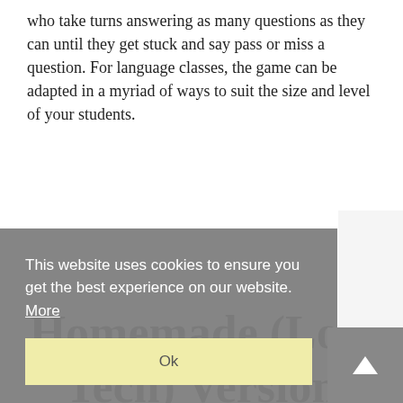who take turns answering as many questions as they can until they get stuck and say pass or miss a question. For language classes, the game can be adapted in a myriad of ways to suit the size and level of your students.
Homemade (Low Tech) Version
This website uses cookies to ensure you get the best experience on our website.  More
Ok